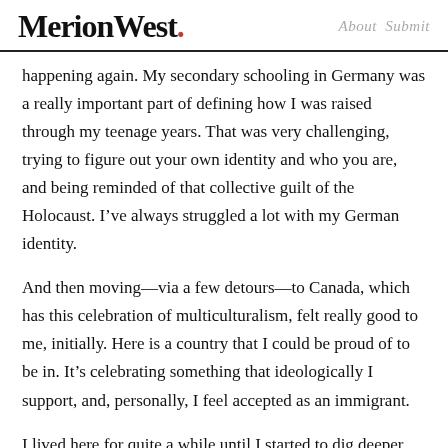MerionWest. About Submit
happening again. My secondary schooling in Germany was a really important part of defining how I was raised through my teenage years. That was very challenging, trying to figure out your own identity and who you are, and being reminded of that collective guilt of the Holocaust. I’ve always struggled a lot with my German identity.
And then moving—via a few detours—to Canada, which has this celebration of multiculturalism, felt really good to me, initially. Here is a country that I could be proud of to be in. It’s celebrating something that ideologically I support, and, personally, I feel accepted as an immigrant.
I lived here for quite a while until I started to dig deeper into the darker side of Canada. I knew very little about settler